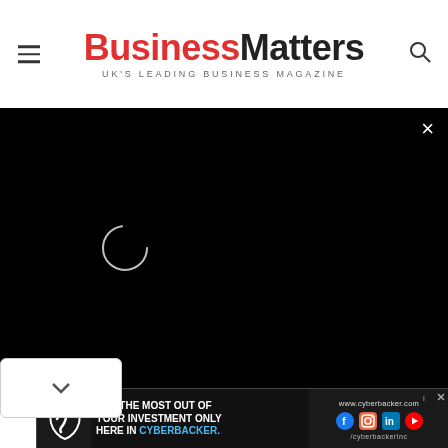Business Matters — UK'S LEADING BUSINESS MAGAZINE
[Figure (other): Black video player area with white circular loading spinner and close (×) button in top-right corner]
[Figure (other): Cyberbacker advertisement banner: GET THE MOST OUT OF YOUR INVESTMENT ONLY HERE IN CYBERBACKER. www.cyberbacker.com, /cyberbackerInc, with Cyberbacker logo and social media icons]